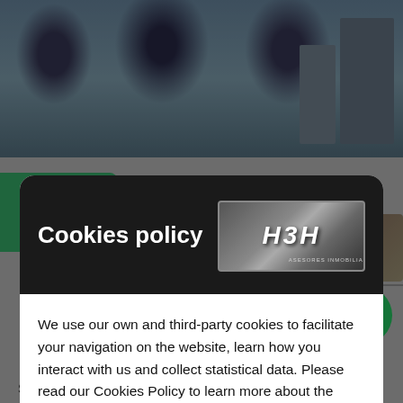[Figure (screenshot): Background website screenshot showing a real estate listing page with thatched roof photo at top, thumbnail images, and partial property description at bottom]
Cookies policy
[Figure (logo): H3H Asesores Inmobiliarios logo on metallic silver/chrome background]
We use our own and third-party cookies to facilitate your navigation on the website, learn how you interact with us and collect statistical data. Please read our Cookies Policy to learn more about the cookies we use, their purpose and how to configure or reject them, if you consider it so.
Manage Cookies
Accept all
QUESTION?
Semi-detached house - Paterna (URB. CAMPOLIVAR) , Built